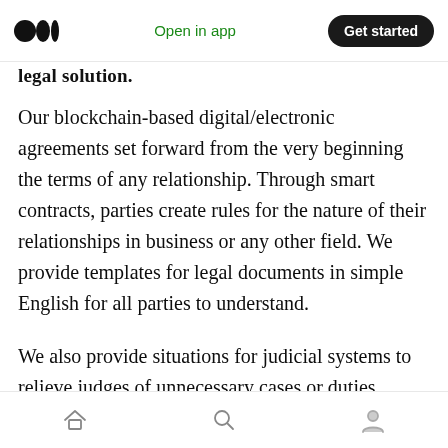Open in app  Get started
legal solution.
Our blockchain-based digital/electronic agreements set forward from the very beginning the terms of any relationship. Through smart contracts, parties create rules for the nature of their relationships in business or any other field. We provide templates for legal documents in simple English for all parties to understand.
We also provide situations for judicial systems to relieve judges of unnecessary cases or duties. Arbitrators quickly solve disputes occurring in
Home  Search  Profile